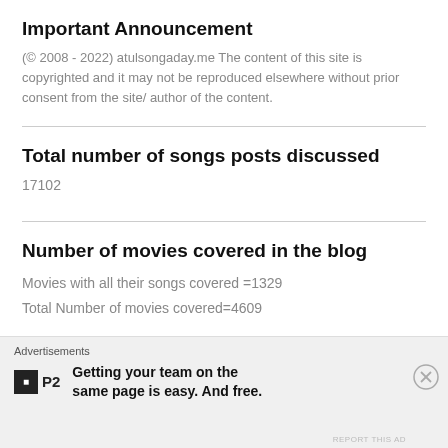Important Announcement
(© 2008 - 2022) atulsongaday.me The content of this site is copyrighted and it may not be reproduced elsewhere without prior consent from the site/ author of the content.
Total number of songs posts discussed
17102
Number of movies covered in the blog
Movies with all their songs covered =1329
Total Number of movies covered=4609
Advertisements
Getting your team on the same page is easy. And free.